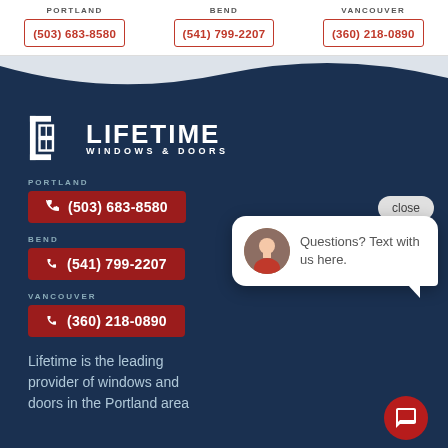PORTLAND (503) 683-8580 | BEND (541) 799-2207 | VANCOUVER (360) 218-0890
[Figure (logo): Lifetime Windows & Doors logo with window icon]
PORTLAND
(503) 683-8580
BEND
(541) 799-2207
VANCOUVER
(360) 218-0890
close
Questions? Text with us here.
Lifetime is the leading provider of windows and doors in the Portland area